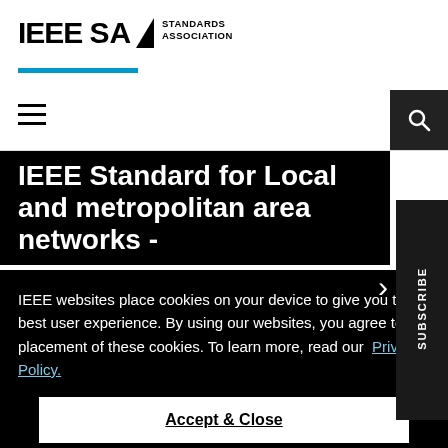[Figure (logo): IEEE SA Standards Association logo with blue underline bar]
[Figure (infographic): Hamburger menu icon (three horizontal lines) and search icon on dark background]
IEEE Standard for Local and metropolitan area networks -
[Figure (infographic): SUBSCRIBE vertical sidebar on dark background]
IEEE websites place cookies on your device to give you the best user experience. By using our websites, you agree to the placement of these cookies. To learn more, read our Privacy Policy.
Accept & Close